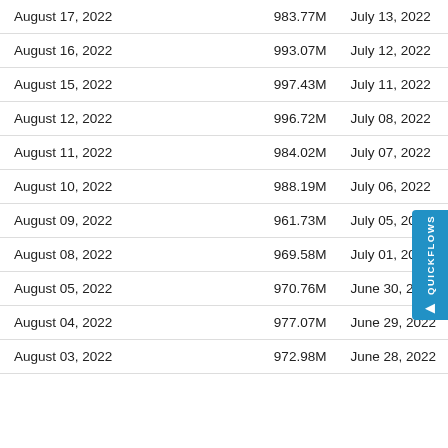| Date | Value | Date2 |
| --- | --- | --- |
| August 17, 2022 | 983.77M | July 13, 2022 |
| August 16, 2022 | 993.07M | July 12, 2022 |
| August 15, 2022 | 997.43M | July 11, 2022 |
| August 12, 2022 | 996.72M | July 08, 2022 |
| August 11, 2022 | 984.02M | July 07, 2022 |
| August 10, 2022 | 988.19M | July 06, 2022 |
| August 09, 2022 | 961.73M | July 05, 2022 |
| August 08, 2022 | 969.58M | July 01, 2022 |
| August 05, 2022 | 970.76M | June 30, 2022 |
| August 04, 2022 | 977.07M | June 29, 2022 |
| August 03, 2022 | 972.98M | June 28, 2022 |